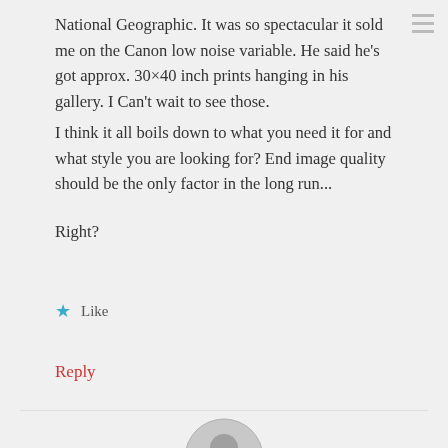National Geographic. It was so spectacular it sold me on the Canon low noise variable. He said he's got approx. 30×40 inch prints hanging in his gallery. I Can't wait to see those.
I think it all boils down to what you need it for and what style you are looking for? End image quality should be the only factor in the long run...
Right?
Like
Reply
[Figure (illustration): User avatar placeholder — circular grey silhouette icon]
George Masters
April 22, 2007 at 3:38 pm